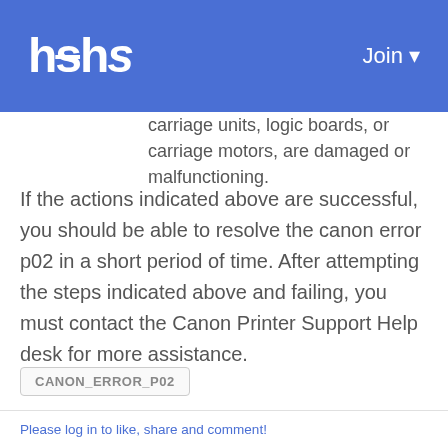hs  Join
carriage units, logic boards, or carriage motors, are damaged or malfunctioning.
If the actions indicated above are successful, you should be able to resolve the canon error p02 in a short period of time. After attempting the steps indicated above and failing, you must contact the Canon Printer Support Help desk for more assistance.
CANON_ERROR_P02
Please log in to like, share and comment!